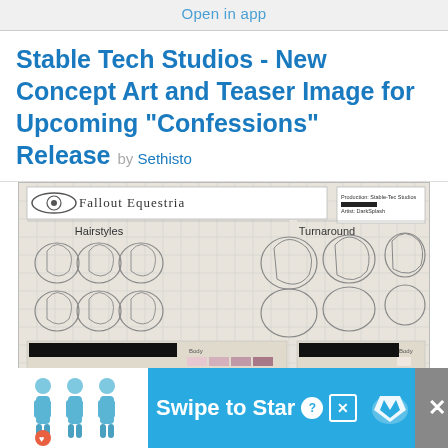Open in app
Stable Tech Studios - New Concept Art and Teaser Image for Upcoming "Confessions" Release by Sethisto
[Figure (illustration): Fallout Equestria concept art sheet from Stable-Tec Studios showing hairstyle studies and turnaround views of a pony character (Sweetie Belle style), with color swatches for body, mane, and eyes on a grid paper background. Production credits: Stable-Tec Studios; Artist: DarkSplash.]
[Figure (infographic): Advertisement banner with blue background showing 'Swipe to Star' text with a hand/cursor icon, a question mark badge, a close X button in blue, and illustrated figures on the left with a heart icon. A gray X close button is on the far right.]